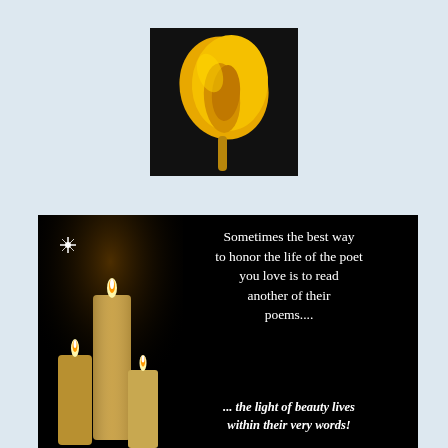[Figure (photo): A yellow calla lily flower photographed against a black background]
[Figure (photo): A dark inspirational image with candles on the left and white serif text on a black background reading: 'Sometimes the best way to honor the life of the poet you love is to read another of their poems.... ... the light of beauty lives within their very words!']